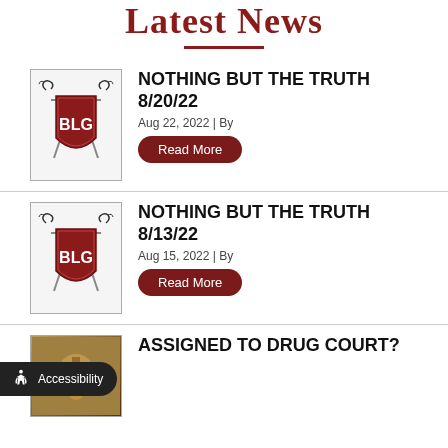Latest News
[Figure (logo): BLG law firm shield logo with crossed swords]
NOTHING BUT THE TRUTH 8/20/22
Aug 22, 2022 | By
Read More
[Figure (logo): BLG law firm shield logo with crossed swords]
NOTHING BUT THE TRUTH 8/13/22
Aug 15, 2022 | By
Read More
[Figure (photo): Photo related to drug court news item]
ASSIGNED TO DRUG COURT?